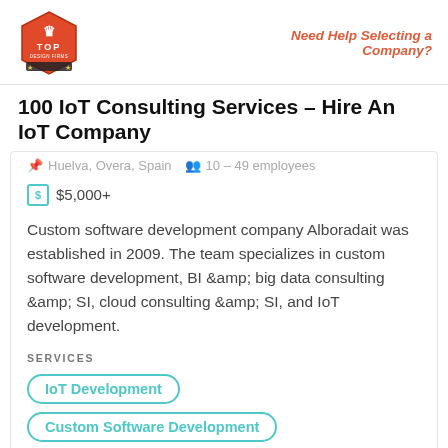[Figure (logo): Top Design Firms logo — red hexagon badge with crown icon]
Need Help Selecting a Company?
100 IoT Consulting Services – Hire An IoT Company
Huelva, Overa, Spain  •  10 – 49 employees
$5,000+
Custom software development company Alboradait was established in 2009. The team specializes in custom software development, BI &amp; big data consulting &amp; SI, cloud consulting &amp; SI, and IoT development.
SERVICES
IoT Development
Custom Software Development
BI & Big Data Consulting & SI
Cloud Consulting & SI